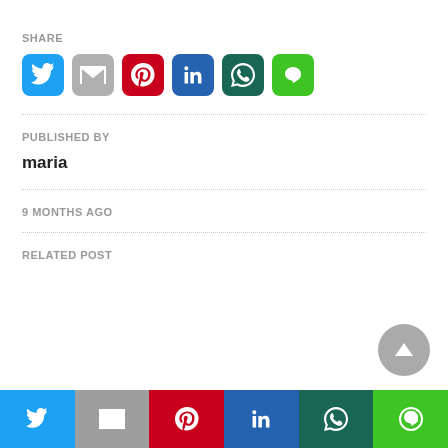SHARE
[Figure (infographic): Row of six social share icon buttons: Twitter (blue bird), Gmail (grey M), Pinterest (red P), LinkedIn (blue in), WhatsApp (dark teal phone), Line (green square)]
PUBLISHED BY
maria
9 MONTHS AGO
RELATED POST
[Figure (infographic): Bottom navigation bar with six social media icon buttons: Twitter, Gmail, Pinterest, LinkedIn, WhatsApp, Line]